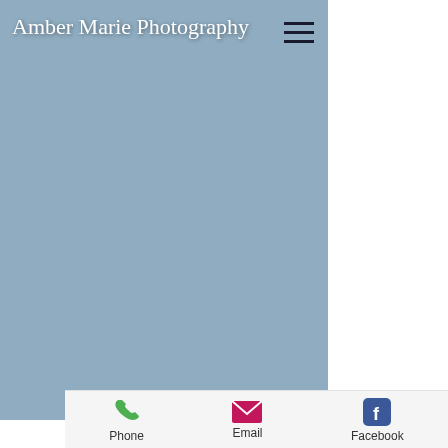Amber Marie Photography
[Figure (screenshot): Blue-grey background area representing a photography website header/hero section with hamburger menu icon]
Phone   Email   Facebook